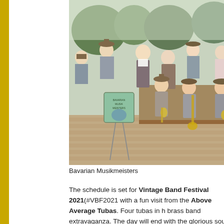[Figure (photo): Group photo of Bavarian Musikmeisters band members in traditional Bavarian attire (lederhosen, dirndls, hats), holding brass instruments including trumpets and tubas, posing outdoors on a brick plaza with a band sign.]
Bavarian Musikmeisters
The schedule is set for Vintage Band Festival 2021(#VBF2021 with a fun visit from the Above Average Tubas. Four tubas in h brass band extravaganza. The day will end with the glorious sou heard them play at the semi-annual Hangar Dance hosted by th